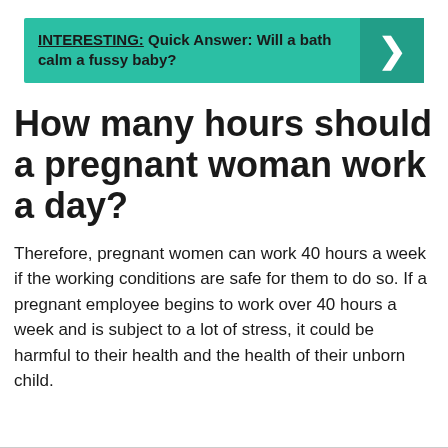[Figure (infographic): Teal banner with bold text reading 'INTERESTING: Quick Answer: Will a bath calm a fussy baby?' with a right-pointing arrow chevron on the right side on a darker teal background.]
How many hours should a pregnant woman work a day?
Therefore, pregnant women can work 40 hours a week if the working conditions are safe for them to do so. If a pregnant employee begins to work over 40 hours a week and is subject to a lot of stress, it could be harmful to their health and the health of their unborn child.